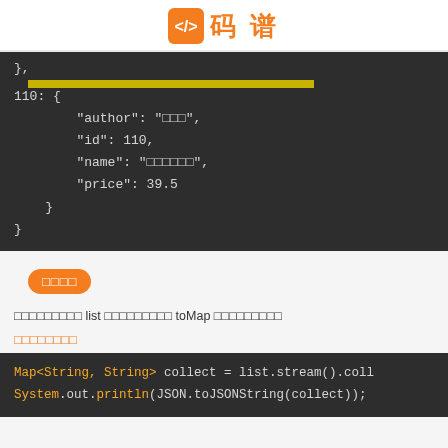码谱
[Figure (screenshot): Code block showing JSON object with fields author, id, name, price for entry 110]
□□□□□□□□□ list □□□□□□□□□ toMap □□□□□□□□□
□□□□□□□□
[Figure (screenshot): Code block showing: Map<String, String> collect = list.stream().coll / System.out.println(JSON.toJSONString(collect));]